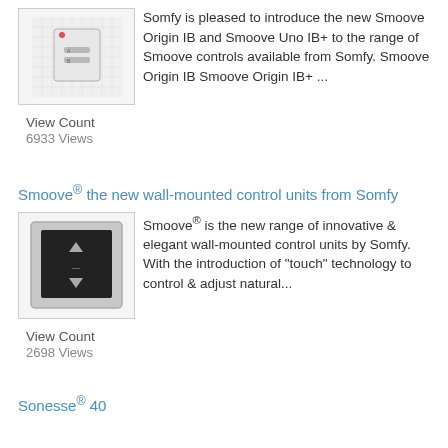[Figure (photo): Thumbnail image of a Smoove Origin IB wall-mounted control unit, white square device on grid background]
Somfy is pleased to introduce the new Smoove Origin IB and Smoove Uno IB+ to the range of Smoove controls available from Somfy. Smoove Origin IB Smoove Origin IB+ ...
View Count
6933 Views
Smoove® the new wall-mounted control units from Somfy
[Figure (photo): Thumbnail image of a Smoove wall-mounted control unit, dark square device with up/stop/down buttons, silver border]
Smoove® is the new range of innovative & elegant wall-mounted control units by Somfy. With the introduction of "touch" technology to control & adjust natural...
View Count
2698 Views
Sonesse® 40